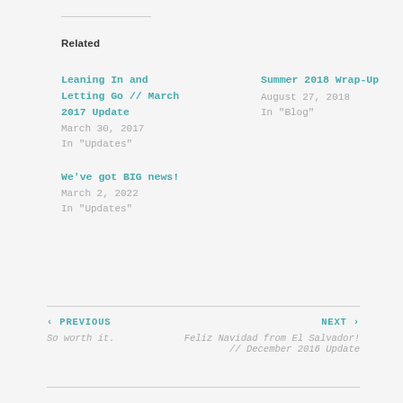Related
Leaning In and Letting Go // March 2017 Update
March 30, 2017
In "Updates"
Summer 2018 Wrap-Up
August 27, 2018
In "Blog"
We've got BIG news!
March 2, 2022
In "Updates"
‹ PREVIOUS
So worth it.
NEXT ›
Feliz Navidad from El Salvador! // December 2016 Update